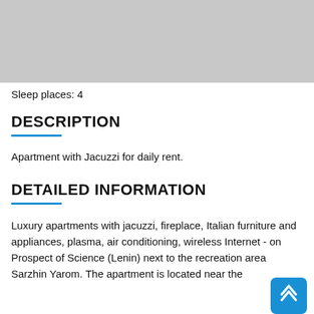[Figure (photo): Gray placeholder image at the top of the page]
Sleep places: 4
DESCRIPTION
Apartment with Jacuzzi for daily rent.
DETAILED INFORMATION
Luxury apartments with jacuzzi, fireplace, Italian furniture and appliances, plasma, air conditioning, wireless Internet - on Prospect of Science (Lenin) next to the recreation area Sarzhin Yarom. The apartment is located near the